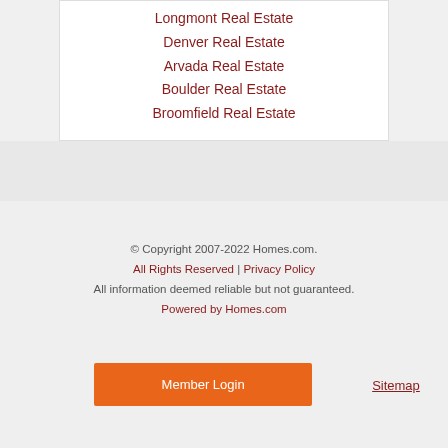Longmont Real Estate
Denver Real Estate
Arvada Real Estate
Boulder Real Estate
Broomfield Real Estate
© Copyright 2007-2022 Homes.com.
All Rights Reserved | Privacy Policy
All information deemed reliable but not guaranteed.
Powered by Homes.com
Member Login
Sitemap